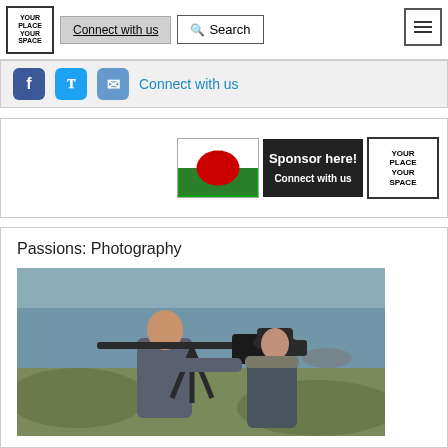[Figure (screenshot): Website navigation bar with logo 'YOUR PLACE YOUR SPACE', Connect with us button, Search button, and hamburger menu icon]
[Figure (screenshot): Social media bar with Facebook, Twitter, and email icons and 'Connect with us' link]
[Figure (screenshot): Sponsor panel with Welsh dragon flag image, 'Sponsor here! Connect with us' box, and Your Place Your Space logo]
Passions: Photography
[Figure (photo): Two people outdoors near the sea on rocky terrain. One person holds a large camera on a tripod/slider rig, both wearing dark outdoor coats.]